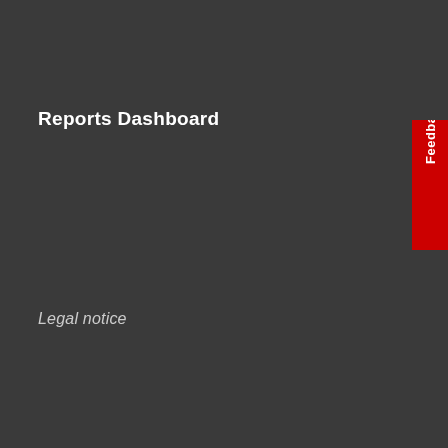Reports Dashboard
Legal notice
[Figure (other): Feedback tab — red vertical banner on the right side of the page with white text reading 'Feedback' rotated 90 degrees]